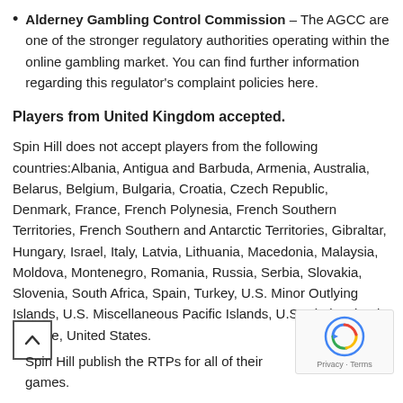Alderney Gambling Control Commission – The AGCC are one of the stronger regulatory authorities operating within the online gambling market. You can find further information regarding this regulator's complaint policies here.
Players from United Kingdom accepted.
Spin Hill does not accept players from the following countries:Albania, Antigua and Barbuda, Armenia, Australia, Belarus, Belgium, Bulgaria, Croatia, Czech Republic, Denmark, France, French Polynesia, French Southern Territories, French Southern and Antarctic Territories, Gibraltar, Hungary, Israel, Italy, Latvia, Lithuania, Macedonia, Malaysia, Moldova, Montenegro, Romania, Russia, Serbia, Slovakia, Slovenia, South Africa, Spain, Turkey, U.S. Minor Outlying Islands, U.S. Miscellaneous Pacific Islands, U.S. Virgin Islands, Ukraine, United States.
Spin Hill publish the RTPs for all of their games.